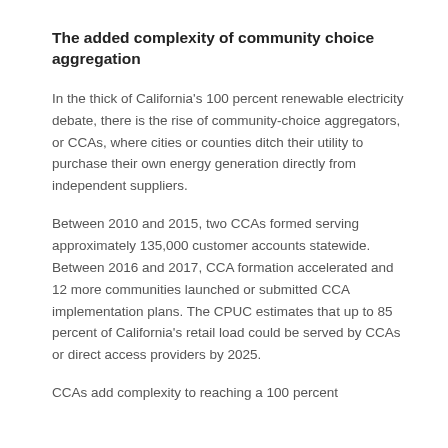The added complexity of community choice aggregation
In the thick of California's 100 percent renewable electricity debate, there is the rise of community-choice aggregators, or CCAs, where cities or counties ditch their utility to purchase their own energy generation directly from independent suppliers.
Between 2010 and 2015, two CCAs formed serving approximately 135,000 customer accounts statewide. Between 2016 and 2017, CCA formation accelerated and 12 more communities launched or submitted CCA implementation plans. The CPUC estimates that up to 85 percent of California's retail load could be served by CCAs or direct access providers by 2025.
CCAs add complexity to reaching a 100 percent renewable future. Since all CCAs...